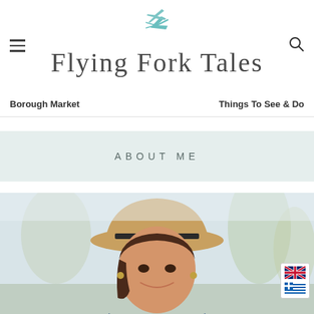Flying Fork Tales
Borough Market
Things To See & Do
ABOUT ME
[Figure (photo): Woman wearing a wide-brimmed straw hat and denim jacket, smiling, photographed outdoors with blurred palm trees and blue sky in background]